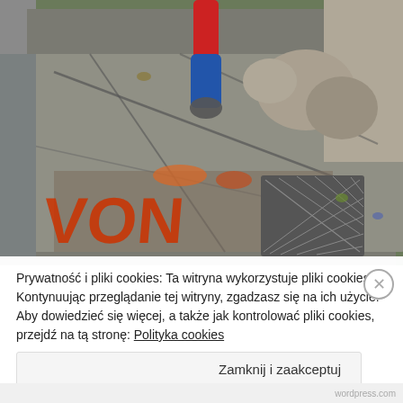[Figure (photo): Outdoor photo showing cracked concrete pavement/slabs with red graffiti lettering, a metal drain grate, stone rubble, and a power tool (angle grinder) in use. Road surface visible on left.]
Prywatność i pliki cookies: Ta witryna wykorzystuje pliki cookies. Kontynuując przeglądanie tej witryny, zgadzasz się na ich użycie. Aby dowiedzieć się więcej, a także jak kontrolować pliki cookies, przejdź na tą stronę: Polityka cookies
Zamknij i zaakceptuj